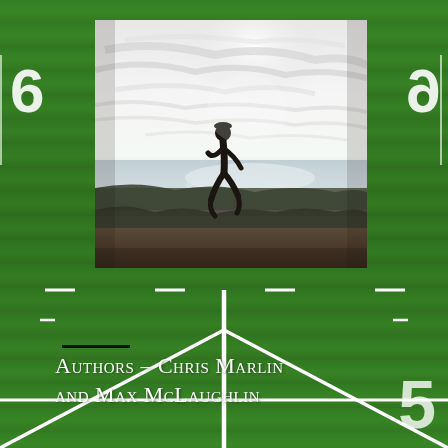[Figure (photo): A silhouette of a person running along a path near a body of water with a bright sky and clouds overhead. The photo is placed over a football field background.]
Authors - Chris Marlin and Max McLaughlin